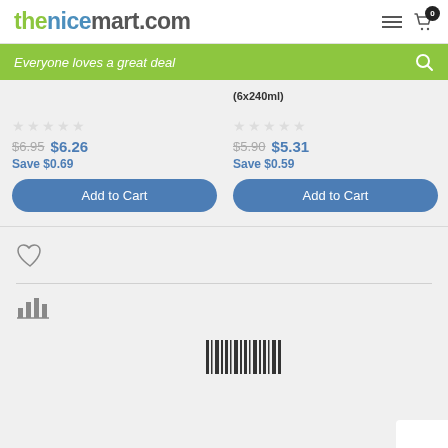thenicemart.com
Everyone loves a great deal
(6x240ml)
$6.95  $6.26  Save $0.69
$5.90  $5.31  Save $0.59
Add to Cart
Add to Cart
[Figure (other): Heart/wishlist icon]
[Figure (other): Bar chart icon]
[Figure (other): Barcode / vertical bars icon]